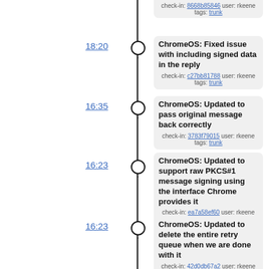check-in: 8668b85846 user: rkeene tags: trunk
18:20 — ChromeOS: Fixed issue with including signed data in the reply — check-in: c27bb81788 user: rkeene tags: trunk
16:35 — ChromeOS: Updated to pass original message back correctly — check-in: 3783f79015 user: rkeene tags: trunk
16:23 — ChromeOS: Updated to support raw PKCS#1 message signing using the interface Chrome provides it — check-in: ea7a58ef60 user: rkeene tags: trunk
16:23 — ChromeOS: Updated to delete the entire retry queue when we are done with it — check-in: 42d0db67a2 user: rkeene tags: trunk
2016-02-19
17:50 — ChromeOS: Fix a potential free(NULL) in initialization of PCSC-NaCl — check-in: 5acacab000 user: rkeene tags: trunk